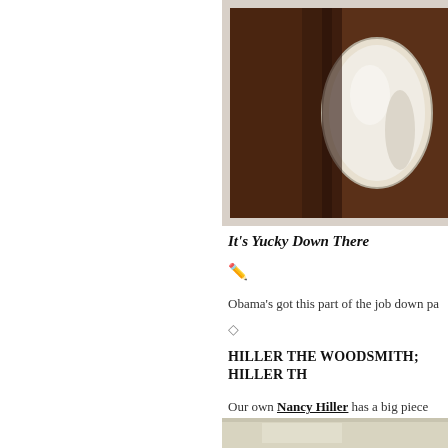[Figure (photo): Close-up photograph of a round mirror or circular object against a dark brown wooden background, partially visible at the top right of the page]
It's Yucky Down There
✏️
Obama's got this part of the job down pa
◇
HILLER THE WOODSMITH; HILLER TH
Our own Nancy Hiller has a big piece co
[Figure (photo): Partial photograph visible at the bottom of the page showing what appears to be a light-colored interior space]